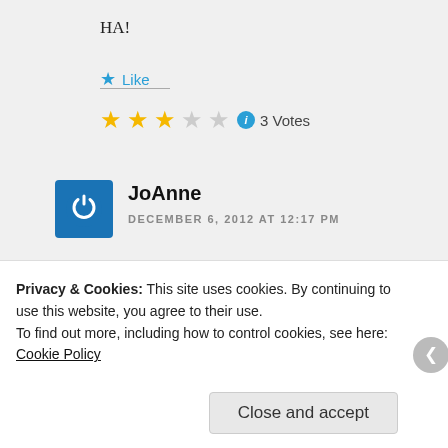HA!
★ Like
[Figure (other): 3-star rating widget showing 3 filled gold stars and 2 empty stars, an info icon, and '3 Votes' text]
JoAnne
DECEMBER 6, 2012 AT 12:17 PM
I really think you need to submit this to Mattel!!!
Privacy & Cookies: This site uses cookies. By continuing to use this website, you agree to their use.
To find out more, including how to control cookies, see here: Cookie Policy
Close and accept